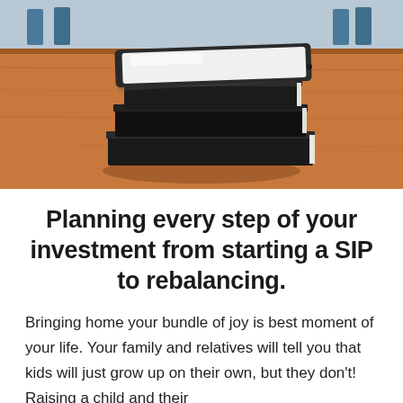[Figure (photo): Photo of a stack of books with a white tablet on top, placed on a wooden desk in a classroom setting]
Planning every step of your investment from starting a SIP to rebalancing.
Bringing home your bundle of joy is best moment of your life. Your family and relatives will tell you that kids will just grow up on their own, but they don't! Raising a child and their